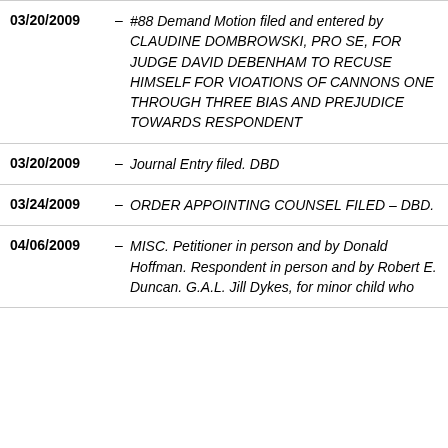03/20/2009 – #88 Demand Motion filed and entered by CLAUDINE DOMBROWSKI, PRO SE, FOR JUDGE DAVID DEBENHAM TO RECUSE HIMSELF FOR VIOATIONS OF CANNONS ONE THROUGH THREE BIAS AND PREJUDICE TOWARDS RESPONDENT
03/20/2009 – Journal Entry filed. DBD
03/24/2009 – ORDER APPOINTING COUNSEL FILED – DBD.
04/06/2009 – MISC. Petitioner in person and by Donald Hoffman. Respondent in person and by Robert E. Duncan. G.A.L. Jill Dykes, for minor child who